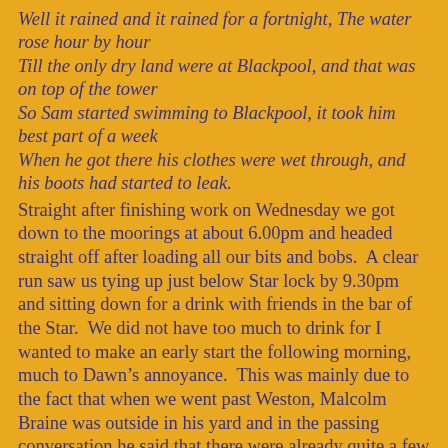Well it rained and it rained for a fortnight, The water rose hour by hour Till the only dry land were at Blackpool, and that was on top of the tower So Sam started swimming to Blackpool, it took him best part of a week When he got there his clothes were wet through, and his boots had started to leak.
Straight after finishing work on Wednesday we got down to the moorings at about 6.00pm and headed straight off after loading all our bits and bobs.  A clear run saw us tying up just below Star lock by 9.30pm and sitting down for a drink with friends in the bar of the Star.  We did not have too much to drink for I wanted to make an early start the following morning, much to Dawn's annoyance.  This was mainly due to the fact that when we went past Weston, Malcolm Braine was outside in his yard and in the passing conversation he said that there were already quite a few boats already at Etruria, so not wishing to end up moored away from the main site, I decided to make an early start, I told Dawn she could lie